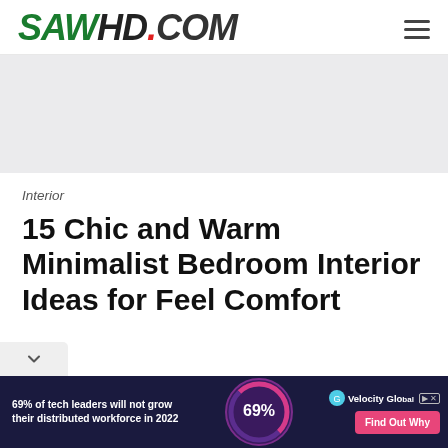SAWHD.COM
Interior
15 Chic and Warm Minimalist Bedroom Interior Ideas for Feel Comfort
[Figure (infographic): Bottom advertisement banner: dark navy background, white bold text '69% of tech leaders will not grow their distributed workforce in 2022', circular purple/pink graphic with '69%' text, Velocity Global logo and 'Find Out Why' pink button. Ad label top right.]